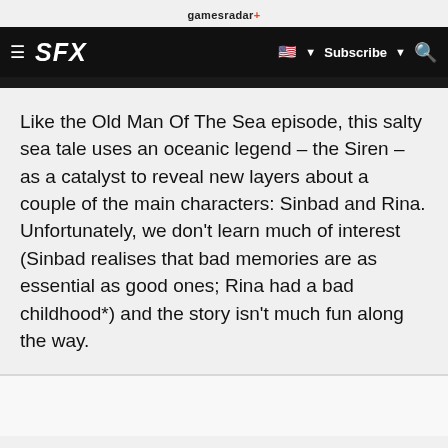gamesradar+
≡  SFX  🇺🇸 ▼  Subscribe ▼  🔍
Like the Old Man Of The Sea episode, this salty sea tale uses an oceanic legend – the Siren – as a catalyst to reveal new layers about a couple of the main characters: Sinbad and Rina. Unfortunately, we don't learn much of interest (Sinbad realises that bad memories are as essential as good ones; Rina had a bad childhood*) and the story isn't much fun along the way.